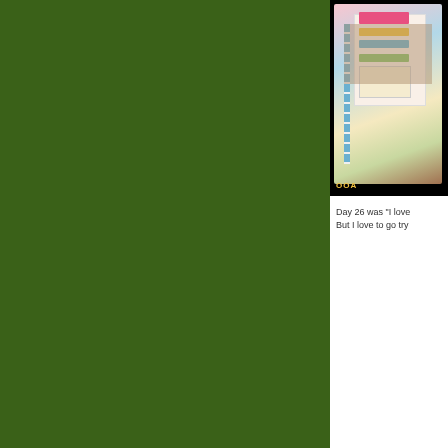[Figure (photo): Large green background block on the left side of the page]
[Figure (photo): Smartphone or small device displaying colorful greeting cards or stationery items, with 'OOA' text label at bottom, set against black background]
Day 26 was "I love
But I love to go try